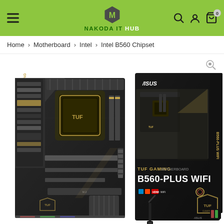NAKODA IT HUB — Navigation header with hamburger menu, logo, search, account, and cart icons
Home > Motherboard > Intel > Intel B560 Chipset
[Figure (photo): Product photo of ASUS TUF Gaming B560-Plus WiFi motherboard (bare board on left) alongside its retail box (on right), on white background. The retail box shows the motherboard and text 'TUF GAMING MOTHERBOARD B560-PLUS WIFI'. A magnifying glass zoom icon is visible in the top-right of the image area.]